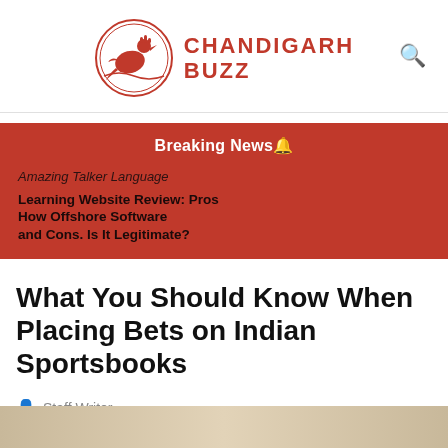[Figure (logo): Chandigarh Buzz logo — a red bird/dove inside a red circle, with the text CHANDIGARH BUZZ in bold red capital letters to the right]
Breaking News 🔔
Amazing Talker Language
Learning Website Review: Pros How Offshore Software and Cons. Is It Legitimate?
What You Should Know When Placing Bets on Indian Sportsbooks
Staff Writer
[Figure (photo): Partial bottom image strip, beige/tan colored]